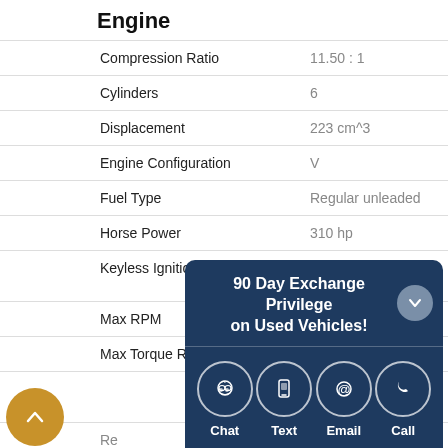Engine
| Attribute | Value |
| --- | --- |
| Compression Ratio | 11.50 : 1 |
| Cylinders | 6 |
| Displacement | 223 cm^3 |
| Engine Configuration | V |
| Fuel Type | Regular unleaded |
| Horse Power | 310 hp |
| Keyless Ignition | Doors and push button start |
| Max RPM | 6,800 RPM |
| Max Torque RPM | 6,800 RPM |
| Re... | Remote engine start - |
| Siz... |  |
| To... |  |
| To... |  |
| Ty... |  |
| Va... |  |
[Figure (infographic): 90 Day Exchange Privilege on Used Vehicles overlay with Chat, Text, Email, Call icons]
[Figure (infographic): Golden back-to-top circle button with upward chevron]